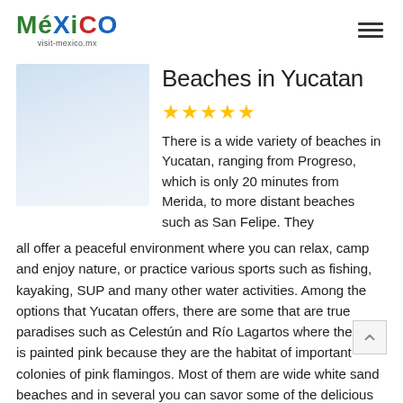México visit-mexico.mx
Beaches in Yucatan
[Figure (photo): Faint light blue/white beach photo placeholder]
★★★★★
There is a wide variety of beaches in Yucatan, ranging from Progreso, which is only 20 minutes from Merida, to more distant beaches such as San Felipe. They all offer a peaceful environment where you can relax, camp and enjoy nature, or practice various sports such as fishing, kayaking, SUP and many other water activities. Among the options that Yucatan offers, there are some that are true paradises such as Celestún and Río Lagartos where the sky is painted pink because they are the habitat of important colonies of pink flamingos. Most of them are wide white sand beaches and in several you can savor some of the delicious typical dishes of Yucatan....